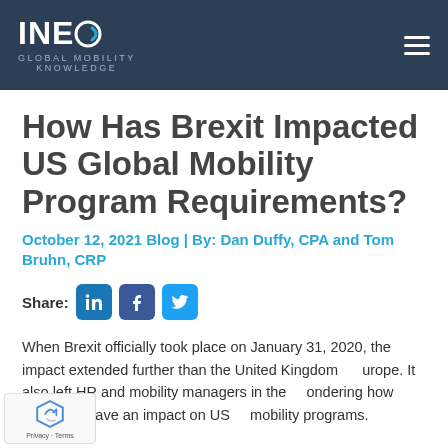INEO GLOBAL MOBILITY KNOWLEDGE
How Has Brexit Impacted US Global Mobility Program Requirements?
October 12, 2021 Blog | By: Dan Duffy, CPA and Tom Bruhn, CRP
Share:
When Brexit officially took place on January 31, 2020, the impact extended further than the United Kingdom urope. It also left HR and mobility managers in the ondering how Brexit will have an impact on US mobility programs.